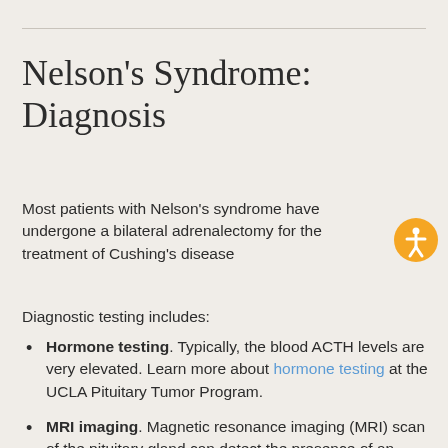Nelson's Syndrome: Diagnosis
Most patients with Nelson's syndrome have undergone a bilateral adrenalectomy for the treatment of Cushing's disease
Diagnostic testing includes:
Hormone testing. Typically, the blood ACTH levels are very elevated. Learn more about hormone testing at the UCLA Pituitary Tumor Program.
MRI imaging. Magnetic resonance imaging (MRI) scan of the pituitary gland can detect the presence of an